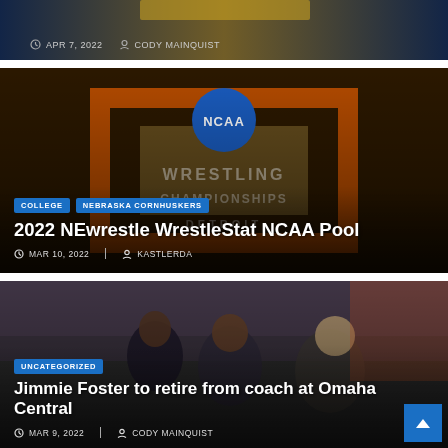[Figure (photo): Top banner of a sports article card with dark background, partially visible]
APR 7, 2022   CODY MAINQUIST
[Figure (photo): NCAA Wrestling Championships Detroit banner/logo image used as article card background]
COLLEGE   NEBRASKA CORNHUSKERS
2022 NEwrestle WrestleStat NCAA Pool
MAR 10, 2022   KASTLERDA
[Figure (photo): Coaches sitting on bench at a sporting event, crowd in background]
UNCATEGORIZED
Jimmie Foster to retire from coach at Omaha Central
MAR 9, 2022   CODY MAINQUIST